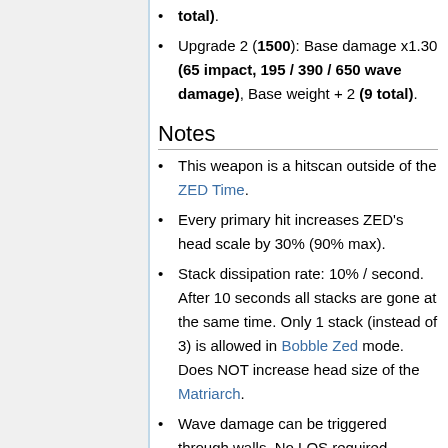total).
Upgrade 2 (1500): Base damage x1.30 (65 impact, 195 / 390 / 650 wave damage), Base weight + 2 (9 total).
Notes
This weapon is a hitscan outside of the ZED Time.
Every primary hit increases ZED's head scale by 30% (90% max).
Stack dissipation rate: 10% / second. After 10 seconds all stacks are gone at the same time. Only 1 stack (instead of 3) is allowed in Bobble Zed mode. Does NOT increase head size of the Matriarch.
Wave damage can be triggered through walls. No LOS required.